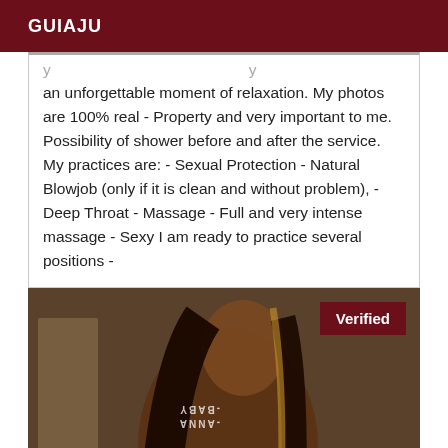GUIAJU
an unforgettable moment of relaxation. My photos are 100% real - Property and very important to me. Possibility of shower before and after the service. My practices are: - Sexual Protection - Natural Blowjob (only if it is clean and without problem), - Deep Throat - Massage - Full and very intense massage - Sexy I am ready to practice several positions -
[Figure (photo): A woman with long straight dark hair with a blonde highlight, looking over her shoulder. A 'Verified' badge appears in the top-right corner of the photo. A watermark reading 'BABY-ANNA' (mirrored) appears in the hair area.]